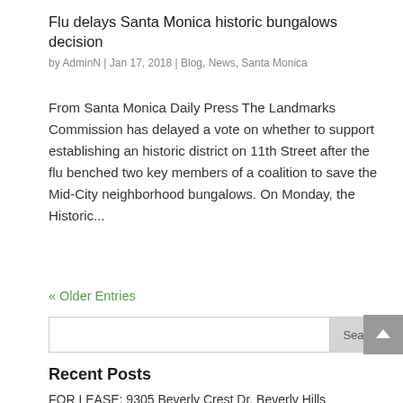Flu delays Santa Monica historic bungalows decision
by AdminN | Jan 17, 2018 | Blog, News, Santa Monica
From Santa Monica Daily Press The Landmarks Commission has delayed a vote on whether to support establishing an historic district on 11th Street after the flu benched two key members of a coalition to save the Mid-City neighborhood bungalows. On Monday, the Historic...
« Older Entries
Recent Posts
FOR LEASE: 9305 Beverly Crest Dr, Beverly Hills
SOLD, Multiple Offers: 9305 Beverly Crest Dr,